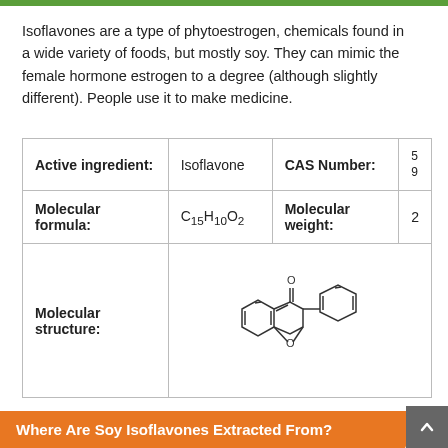Isoflavones are a type of phytoestrogen, chemicals found in a wide variety of foods, but mostly soy. They can mimic the female hormone estrogen to a degree (although slightly different). People use it to make medicine.
| Active ingredient: | Isoflavone | CAS Number: | 5…9… |
| --- | --- | --- | --- |
| Molecular formula: | C15H10O2 | Molecular weight: | 2… |
| Molecular structure: | [isoflavone structure diagram] |  |  |
Where Are Soy Isoflavones Extracted From?